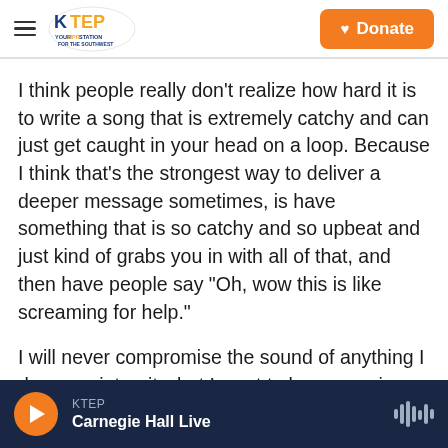KTEP — Your NPR Station for the Southwest — Donate
I think people really don't realize how hard it is to write a song that is extremely catchy and can just get caught in your head on a loop. Because I think that's the strongest way to deliver a deeper message sometimes, is have something that is so catchy and so upbeat and just kind of grabs you in with all of that, and then have people say "Oh, wow this is like screaming for help."
I will never compromise the sound of anything I do or my integrity, but I want to keep growing until I hit the ceiling.
KTEP — Carnegie Hall Live